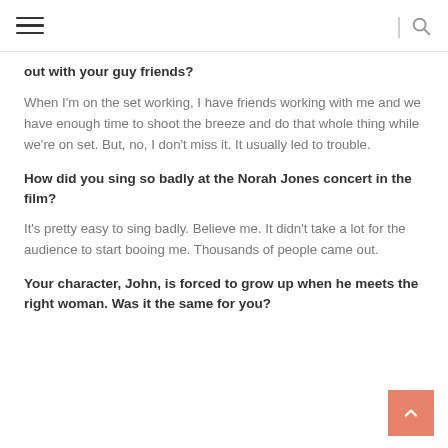≡ | 🔍
out with your guy friends?
When I'm on the set working, I have friends working with me and we have enough time to shoot the breeze and do that whole thing while we're on set. But, no, I don't miss it. It usually led to trouble.
How did you sing so badly at the Norah Jones concert in the film?
It's pretty easy to sing badly. Believe me. It didn't take a lot for the audience to start booing me. Thousands of people came out.
Your character, John, is forced to grow up when he meets the right woman. Was it the same for you?